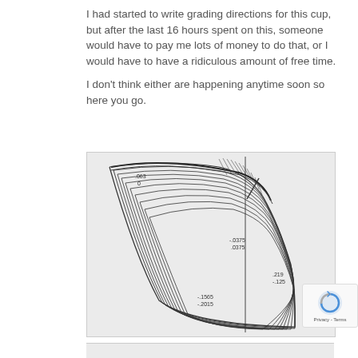I had started to write grading directions for this cup, but after the last 16 hours spent on this, someone would have to pay me lots of money to do that, or I would have to have a ridiculous amount of free time.
I don't think either are happening anytime soon so here you go.
[Figure (engineering-diagram): Technical engineering diagram showing a cup cross-section with multiple concentric contour lines. Annotations include dimension labels: .063, 0 (top left area), -.0375/.0375 (middle right), .219/-.125 (right side), -.1565/-.2015 (bottom center). A vertical reference line runs through the right portion of the diagram.]